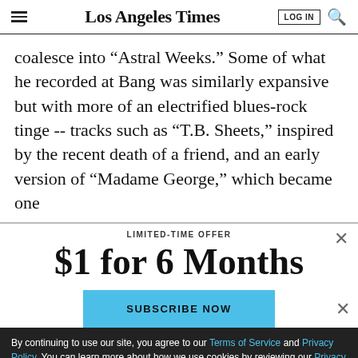Los Angeles Times
coalesce into “Astral Weeks.” Some of what he recorded at Bang was similarly expansive but with more of an electrified blues-rock tinge -- tracks such as “T.B. Sheets,” inspired by the recent death of a friend, and an early version of “Madame George,” which became one
LIMITED-TIME OFFER
$1 for 6 Months
SUBSCRIBE NOW
By continuing to use our site, you agree to our Terms of Service and Privacy Policy. You can learn more about how we use cookies by reviewing our Privacy Policy. Close